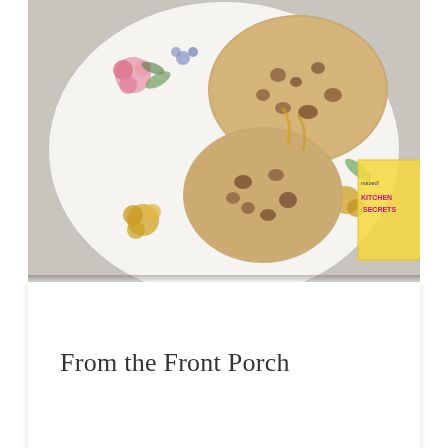[Figure (photo): Overhead photo of chocolate chip cookies on a floral-decorated white ceramic plate, with a cookbook visible in the upper right corner]
From the Front Porch
5 Comments
Julie says: